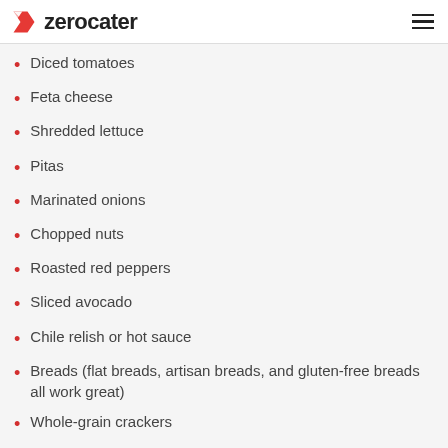zerocater
Diced tomatoes
Feta cheese
Shredded lettuce
Pitas
Marinated onions
Chopped nuts
Roasted red peppers
Sliced avocado
Chile relish or hot sauce
Breads (flat breads, artisan breads, and gluten-free breads all work great)
Whole-grain crackers
Veggie sticks such as cucumber spears or rounds,